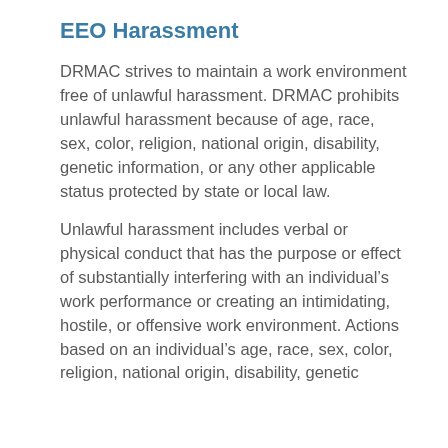EEO Harassment
DRMAC strives to maintain a work environment free of unlawful harassment.  DRMAC prohibits unlawful harassment because of age, race, sex, color, religion, national origin, disability, genetic information, or any other applicable status protected by state or local law.
Unlawful harassment includes verbal or physical conduct that has the purpose or effect of substantially interfering with an individual’s work performance or creating an intimidating, hostile, or offensive work environment.  Actions based on an individual’s age, race, sex, color, religion, national origin, disability, genetic